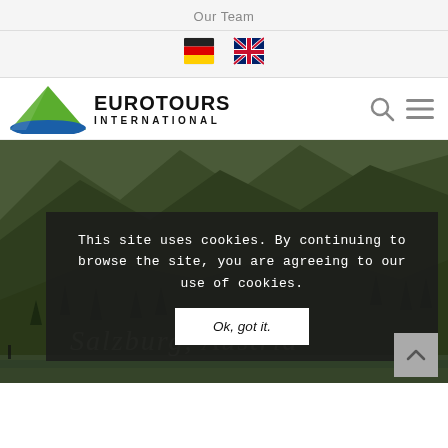Our Team
[Figure (illustration): German flag and UK flag icons for language selection]
[Figure (logo): Eurotours International logo with green mountain triangle and blue wave]
[Figure (photo): Mountain landscape with green alpine slopes, trees, and a lake in the foreground. Text overlay: Salzburg, Austria]
This site uses cookies. By continuing to browse the site, you are agreeing to our use of cookies.
Ok, got it.